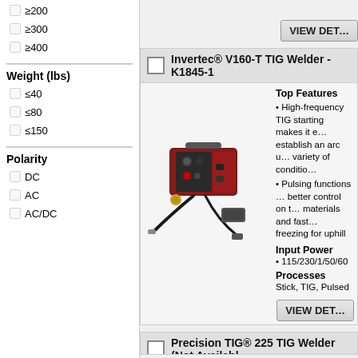≥200
≥300
≥400
Weight (lbs)
≤40
≤80
≤150
Polarity
DC
AC
AC/DC
Invertec® V160-T TIG Welder - K1845-1
[Figure (photo): Invertec V160-T TIG Welder product photo showing red/dark welder unit with accessories and cables]
Top Features
• High-frequency TIG starting makes it easy to establish an arc under a variety of conditions
• Pulsing functions allow better control on thin materials and fast freeze for uphill
Input Power
• 115/230/1/50/60
Processes
Stick, TIG, Pulsed
Precision TIG® 225 TIG Welder (Not Available
[Figure (photo): Precision TIG 225 TIG Welder product photo showing red welder unit]
Top Features
• Easy-to-use operator interface - select mode, polarity and weld
• AC Auto-Balance® automatically adjusts the optimal mix of